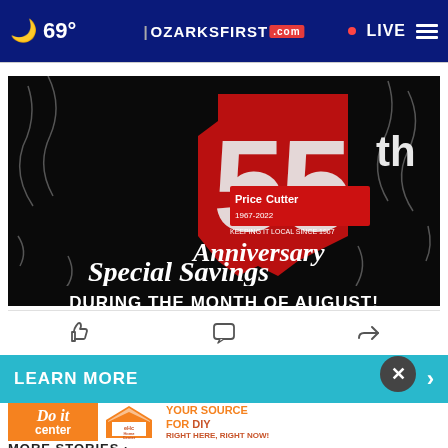🌙 69° | OZARKSFIRST.com • LIVE ☰
[Figure (photo): Price Cutter 55th Anniversary Special Savings During the Month of August advertisement on black background with confetti and red Missouri state shape logo]
👍  💬  ↪
LEARN MORE ›
[Figure (photo): Do it Center and eHc Home Center advertisement: YOUR SOURCE FOR DIY RIGHT HERE RIGHT NOW!]
MORE STORIES ›